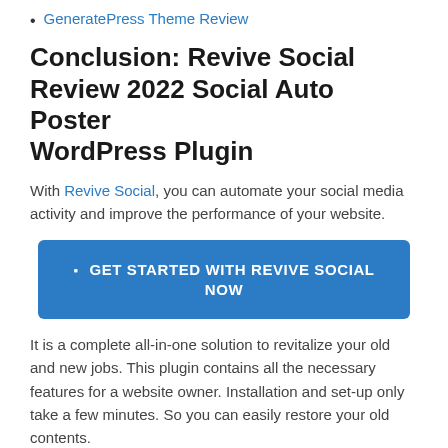GeneratePress Theme Review
Conclusion: Revive Social Review 2022 Social Auto Poster WordPress Plugin
With Revive Social, you can automate your social media activity and improve the performance of your website.
[Figure (other): Blue call-to-action button reading: GET STARTED WITH REVIVE SOCIAL NOW]
It is a complete all-in-one solution to revitalize your old and new jobs. This plugin contains all the necessary features for a website owner. Installation and set-up only take a few minutes. So you can easily restore your old contents.